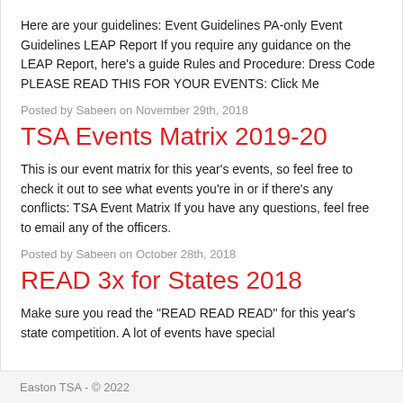Here are your guidelines: Event Guidelines PA-only Event Guidelines LEAP Report If you require any guidance on the LEAP Report, here’s a guide Rules and Procedure: Dress Code PLEASE READ THIS FOR YOUR EVENTS: Click Me
Posted by Sabeen on November 29th, 2018
TSA Events Matrix 2019-20
This is our event matrix for this year’s events, so feel free to check it out to see what events you’re in or if there’s any conflicts: TSA Event Matrix If you have any questions, feel free to email any of the officers.
Posted by Sabeen on October 28th, 2018
READ 3x for States 2018
Make sure you read the “READ READ READ” for this year’s state competition. A lot of events have special
Easton TSA - © 2022